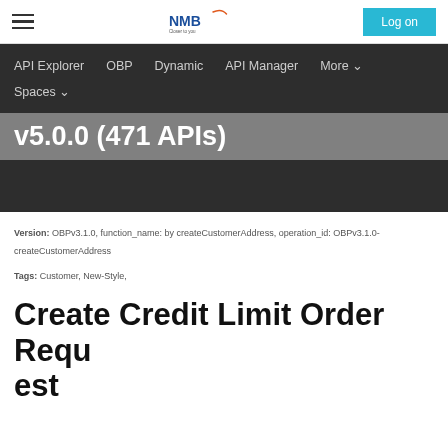NMB - API Explorer | Log on
API Explorer  OBP  Dynamic  API Manager  More  Spaces
v5.0.0 (471 APIs)
Version: OBPv3.1.0, function_name: by createCustomerAddress, operation_id: OBPv3.1.0-createCustomerAddress
Tags: Customer, New-Style,
Create Credit Limit Order Request